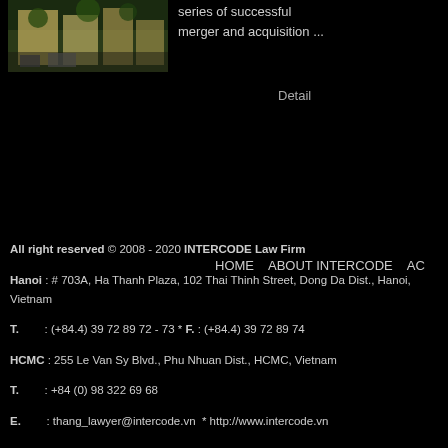[Figure (photo): Exterior photo of a building with trees and parked cars, green/yellow tones]
series of successful merger and acquisition ...
Detail
HOME    ABOUT INTERCODE    AC
All right reserved © 2008 - 2020 INTERCODE Law Firm
Hanoi : # 703A, Ha Thanh Plaza, 102 Thai Thinh Street, Dong Da Dist., Hanoi, Vietnam
T.        : (+84.4) 39 72 89 72 - 73 * F. : (+84.4) 39 72 89 74
HCMC : 255 Le Van Sy Blvd., Phu Nhuan Dist., HCMC, Vietnam
T.        : +84 (0) 98 322 69 68
E.        : thang_lawyer@intercode.vn  * http://www.intercode.vn